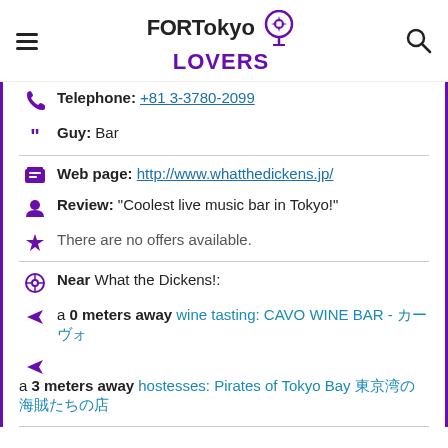FOR Tokyo LOVERS
Telephone: +81 3-3780-2099
Guy: Bar
Web page: http://www.whatthedickens.jp/
Review: "Coolest live music bar in Tokyo!"
There are no offers available.
Near What the Dickens!:
a 0 meters away wine tasting: CAVO WINE BAR - カーヴォ
a 3 meters away hostesses: Pirates of Tokyo Bay 東京湾の海賊たち
Are you the owner of the business? PROMOTE IT!